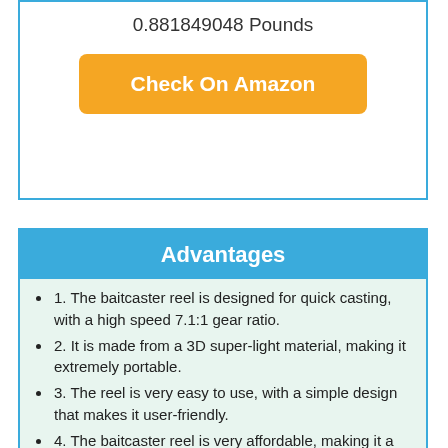0.881849048 Pounds
Check On Amazon
Advantages
1. The baitcaster reel is designed for quick casting, with a high speed 7.1:1 gear ratio.
2. It is made from a 3D super-light material, making it extremely portable.
3. The reel is very easy to use, with a simple design that makes it user-friendly.
4. The baitcaster reel is very affordable, making it a great option for budget-conscious anglers.
5. It comes with...